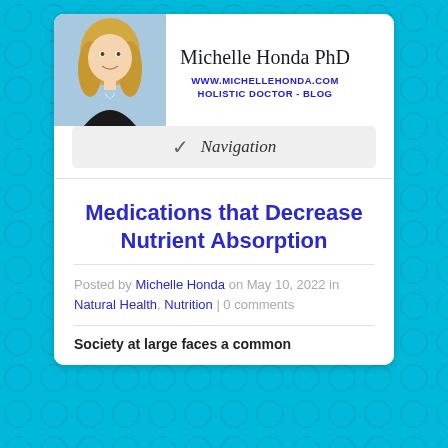[Figure (photo): Photo of Michelle Honda PhD – blonde woman in professional attire]
Michelle Honda PhD
WWW.MICHELLEHONDA.COM
HOLISTIC DOCTOR - BLOG
Navigation
Medications that Decrease Nutrient Absorption
Posted by Michelle Honda on May 10, 2022 in Natural Health, Nutrition | 0 comments
Society at large faces a common